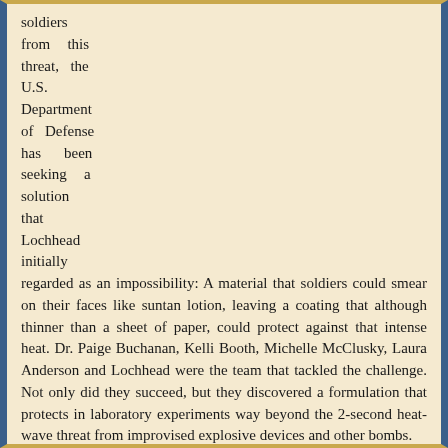soldiers from this threat, the U.S. Department of Defense has been seeking a solution that Lochhead initially regarded as an impossibility: A material that soldiers could smear on their faces like suntan lotion, leaving a coating that although thinner than a sheet of paper, could protect against that intense heat. Dr. Paige Buchanan, Kelli Booth, Michelle McClusky, Laura Anderson and Lochhead were the team that tackled the challenge. Not only did they succeed, but they discovered a formulation that protects in laboratory experiments way beyond the 2-second heat-wave threat from improvised explosive devices and other bombs.